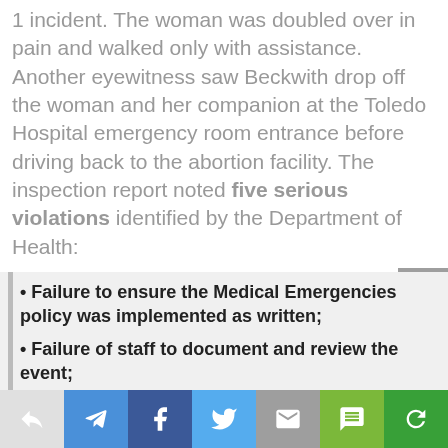1 incident. The woman was doubled over in pain and walked only with assistance. Another eyewitness saw Beckwith drop off the woman and her companion at the Toledo Hospital emergency room entrance before driving back to the abortion facility. The inspection report noted five serious violations identified by the Department of Health:
• Failure to ensure the Medical Emergencies policy was implemented as written;
• Failure of staff to document and review the event;
• Failed to document and review all adverse